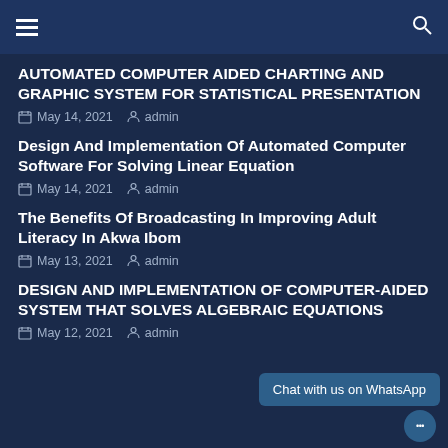AUTOMATED COMPUTER AIDED CHARTING AND GRAPHIC SYSTEM FOR STATISTICAL PRESENTATION
May 14, 2021  admin
Design And Implementation Of Automated Computer Software For Solving Linear Equation
May 14, 2021  admin
The Benefits Of Broadcasting In Improving Adult Literacy In Akwa Ibom
May 13, 2021  admin
DESIGN AND IMPLEMENTATION OF COMPUTER-AIDED SYSTEM THAT SOLVES ALGEBRAIC EQUATIONS
May 12, 2021  admin
Chat with us on WhatsApp